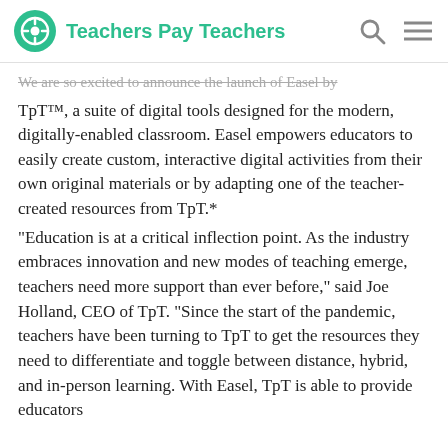Teachers Pay Teachers
We are so excited to announce the launch of Easel by TpT™, a suite of digital tools designed for the modern, digitally-enabled classroom. Easel empowers educators to easily create custom, interactive digital activities from their own original materials or by adapting one of the teacher-created resources from TpT.*
“Education is at a critical inflection point. As the industry embraces innovation and new modes of teaching emerge, teachers need more support than ever before,” said Joe Holland, CEO of TpT. “Since the start of the pandemic, teachers have been turning to TpT to get the resources they need to differentiate and toggle between distance, hybrid, and in-person learning. With Easel, TpT is able to provide educators